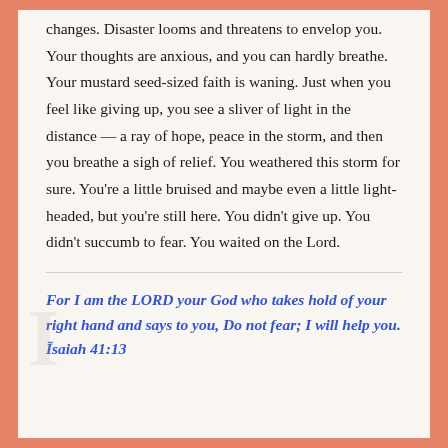changes. Disaster looms and threatens to envelop you. Your thoughts are anxious, and you can hardly breathe. Your mustard seed-sized faith is waning. Just when you feel like giving up, you see a sliver of light in the distance — a ray of hope, peace in the storm, and then you breathe a sigh of relief. You weathered this storm for sure. You're a little bruised and maybe even a little light-headed, but you're still here. You didn't give up. You didn't succumb to fear. You waited on the Lord.
For I am the LORD your God who takes hold of your right hand and says to you, Do not fear; I will help you. Ĩsaiah 41:13